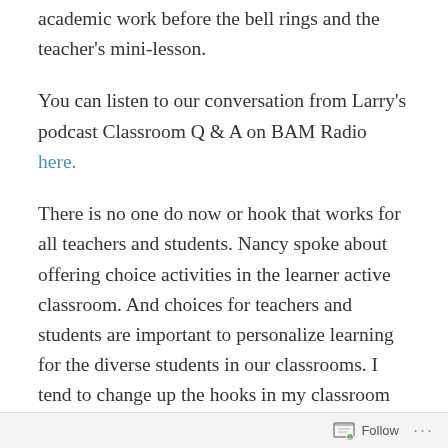academic work before the bell rings and the teacher's mini-lesson.
You can listen to our conversation from Larry's podcast Classroom Q & A on BAM Radio here.
There is no one do now or hook that works for all teachers and students. Nancy spoke about offering choice activities in the learner active classroom. And choices for teachers and students are important to personalize learning for the diverse students in our classrooms. I tend to change up the hooks in my classroom so no one activity is the same. I also like the idea of putting do-nows on task cards so students can choose to complete or a teacher can have students choose a new task card each day from a set. There is no one correct way to start the class, teachers
Follow